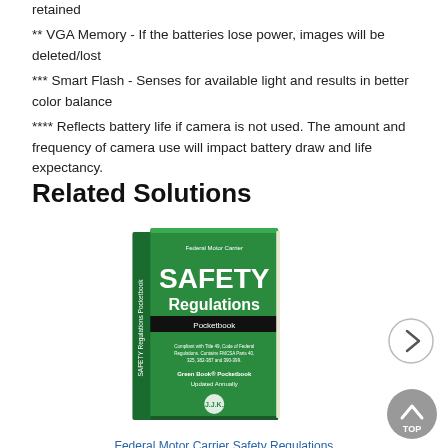retained
** VGA Memory - If the batteries lose power, images will be deleted/lost
*** Smart Flash - Senses for available light and results in better color balance
**** Reflects battery life if camera is not used. The amount and frequency of camera use will impact battery draw and life expectancy.
Related Solutions
[Figure (photo): Book cover: Federal Motor Carrier Safety Regulations Pocketbook (The Green Book) - green cover with white text]
Federal Motor Carrier Safety Regulations Pocketbook (The Green Book®)